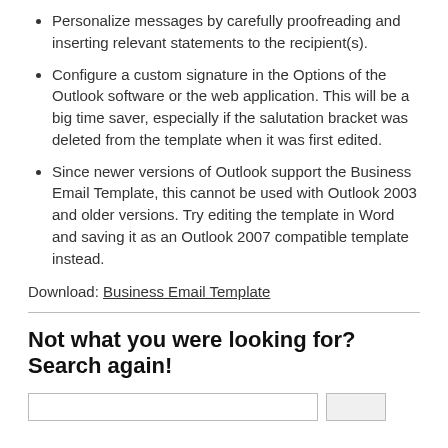Personalize messages by carefully proofreading and inserting relevant statements to the recipient(s).
Configure a custom signature in the Options of the Outlook software or the web application. This will be a big time saver, especially if the salutation bracket was deleted from the template when it was first edited.
Since newer versions of Outlook support the Business Email Template, this cannot be used with Outlook 2003 and older versions. Try editing the template in Word and saving it as an Outlook 2007 compatible template instead.
Download: Business Email Template
Not what you were looking for? Search again!